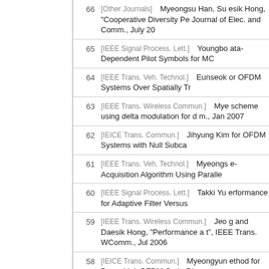66 [Other Journals] Myeongsu Han, Su esik Hong, "Cooperative Diversity Pe Journal of Elec. and Comm., July 20
65 [IEEE Signal Process. Lett.] Youngbo ata-Dependent Pilot Symbols for MC
64 [IEEE Trans. Veh. Technol.] Eunseok or OFDM Systems Over Spatially Tr
63 [IEEE Trans. Wireless Commun.] Mye scheme using delta modulation for d m., Jan 2007
62 [IEICE Trans. Commun.] Jihyung Kim for OFDM Systems with Null Subca
61 [IEEE Trans. Veh. Technol.] Myeongs e-Acquisition Algorithm Using Paralle
60 [IEEE Signal Process. Lett.] Takki Yu erformance for Adaptive Filter Versus
59 [IEEE Trans. Wireless Commun.] Jeo g and Daesik Hong, "Performance a t", IEEE Trans. WComm., Jul 2006
58 [IEICE Trans. Commun.] Myeongyun ethod for Down-Link OFDM Code-Di
57 [IEICE Trans. Fund.] Eunsung Oh, M f Analysis of Dynamic Ch